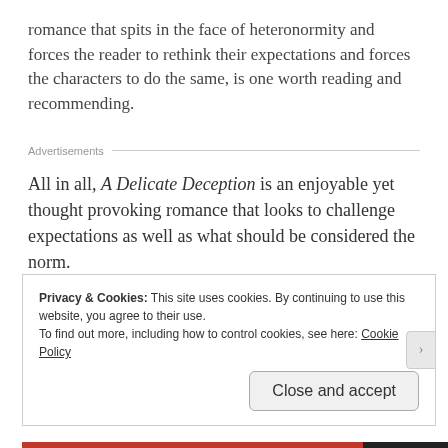romance that spits in the face of heteronormity and forces the reader to rethink their expectations and forces the characters to do the same, is one worth reading and recommending.
Advertisements
All in all, A Delicate Deception is an enjoyable yet thought provoking romance that looks to challenge expectations as well as what should be considered the norm.
Privacy & Cookies: This site uses cookies. By continuing to use this website, you agree to their use.
To find out more, including how to control cookies, see here: Cookie Policy
Close and accept